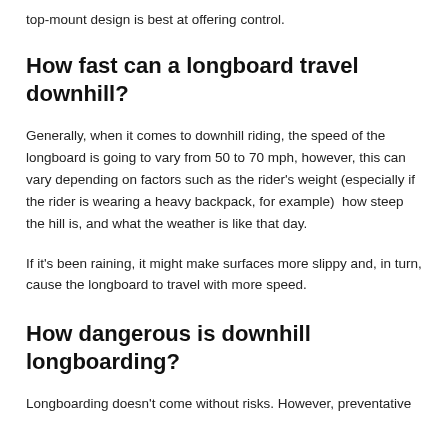top-mount design is best at offering control.
How fast can a longboard travel downhill?
Generally, when it comes to downhill riding, the speed of the longboard is going to vary from 50 to 70 mph, however, this can vary depending on factors such as the rider's weight (especially if the rider is wearing a heavy backpack, for example)  how steep the hill is, and what the weather is like that day.
If it's been raining, it might make surfaces more slippy and, in turn, cause the longboard to travel with more speed.
How dangerous is downhill longboarding?
Longboarding doesn't come without risks. However, preventative